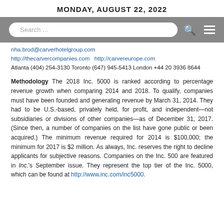MONDAY, AUGUST 22, 2022
[Figure (screenshot): Search bar UI element with search icon and hamburger menu on grey background]
nha.brod@carverhotelgroup.com http://thecarvercompanies.com http://carvereurope.com Atlanta (404) 254-3130 Toronto (647) 945-5413 London +44 20 3936 8644
Methodology The 2018 Inc. 5000 is ranked according to percentage revenue growth when comparing 2014 and 2018. To qualify, companies must have been founded and generating revenue by March 31, 2014. They had to be U.S.-based, privately held, for profit, and independent—not subsidiaries or divisions of other companies—as of December 31, 2017. (Since then, a number of companies on the list have gone public or been acquired.) The minimum revenue required for 2014 is $100,000; the minimum for 2017 is $2 million. As always, Inc. reserves the right to decline applicants for subjective reasons. Companies on the Inc. 500 are featured in Inc.'s September issue. They represent the top tier of the Inc. 5000, which can be found at http://www.inc.com/inc5000.